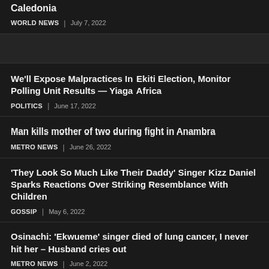Caledonia
WORLD NEWS | July 7, 2022
We'll Expose Malpractices In Ekiti Election, Monitor Polling Unit Results — Yiaga Africa
POLITICS | June 17, 2022
Man kills mother of two during fight in Anambra
METRO NEWS | June 26, 2022
'They Look So Much Like Their Daddy' Singer Kizz Daniel Sparks Reactions Over Striking Resemblance With Children
GOSSIP | May 6, 2022
Osinachi: 'Ekwueme' singer died of lung cancer, I never hit her – Husband cries out
METRO NEWS | June 2, 2022